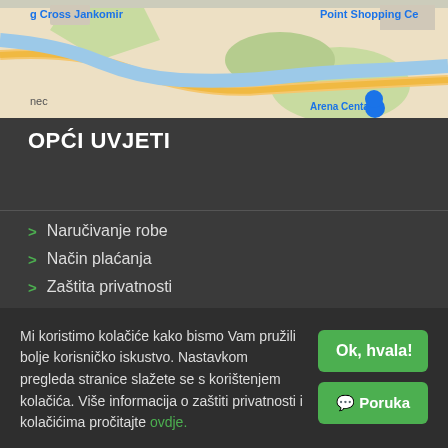[Figure (map): Google Maps screenshot showing area including King Cross Jankomir, Point Shopping Center, Arena Center, and surrounding roads and green areas.]
OPĆI UVJETI
> Naručivanje robe
> Način plaćanja
> Zaštita privatnosti
> Sigurnost kupovine
Mi koristimo kolačiće kako bismo Vam pružili bolje korisničko iskustvo. Nastavkom pregleda stranice slažete se s korištenjem kolačića. Više informacija o zaštiti privatnosti i kolačićima pročitajte ovdje.